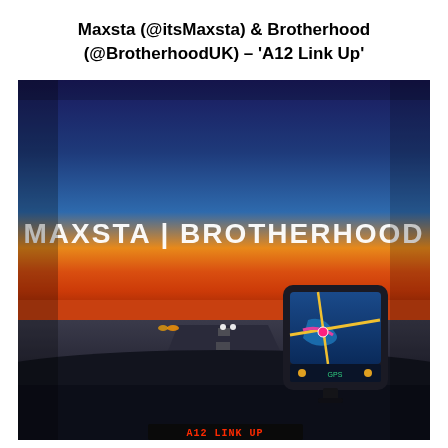Maxsta (@itsMaxsta) & Brotherhood (@BrotherhoodUK) – 'A12 Link Up'
[Figure (photo): Photo taken from inside a car on a motorway at dusk/sunset. The sky transitions from deep blue at the top to orange/red near the horizon. White text 'MAXSTA | BROTHERHOOD' is overlaid in the upper-center area. A GPS navigation device is visible on the right side of the dashboard showing a blue map screen. Other cars with headlights are visible ahead on the road. The car dashboard is dark. Red LED text at the bottom reads 'A12 LINK UP'.]